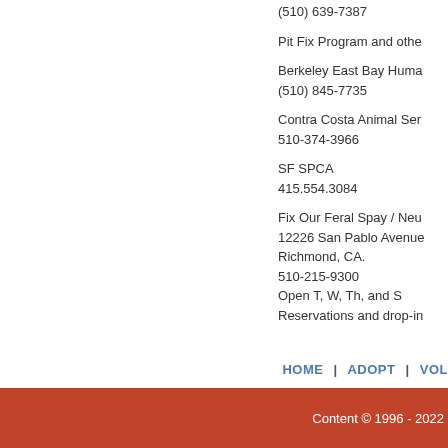(510) 639-7387
Pit Fix Program and othe
Berkeley East Bay Huma
(510) 845-7735
Contra Costa Animal Ser
510-374-3966
SF SPCA
415.554.3084
Fix Our Feral Spay / Neu
12226 San Pablo Avenue
Richmond, CA.
510-215-9300
Open T, W, Th, and S
Reservations and drop-in
HOME | ADOPT | VOL
Content © 1996 - 2022